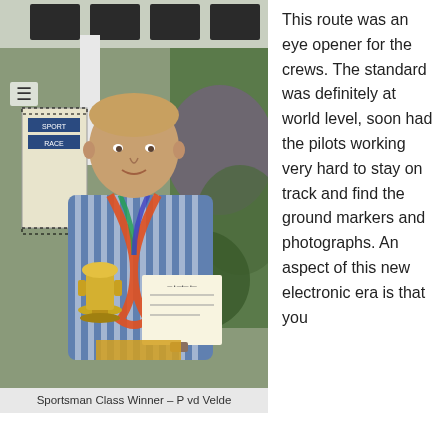[Figure (photo): Man holding a trophy cup and certificate, wearing a striped blue and white sweater with a colorful scarf/lanyard around his neck, standing in front of a display background. Indoor event setting.]
Sportsman Class Winner – P vd Velde
This route was an eye opener for the crews. The standard was definitely at world level, soon had the pilots working very hard to stay on track and find the ground markers and photographs. An aspect of this new electronic era is that you